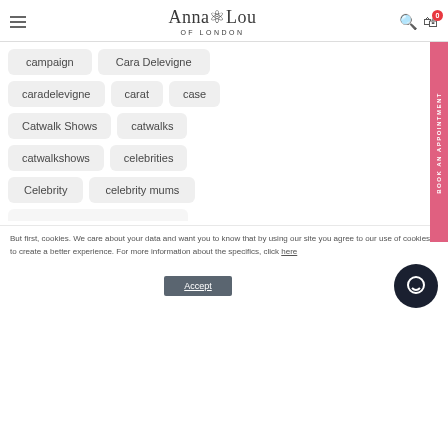Anna Lou OF LONDON
campaign
Cara Delevigne
caradelevigne
carat
case
Catwalk Shows
catwalks
catwalkshows
celebrities
Celebrity
celebrity mums
But first, cookies. We care about your data and want you to know that by using our site you agree to our use of cookies to create a better experience. For more information about the specifics, click here
Accept